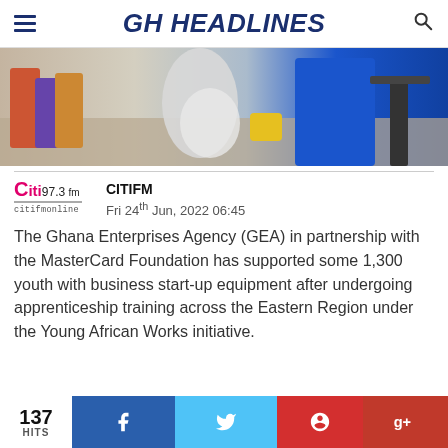GH HEADLINES
[Figure (photo): Photo of people standing, one wearing a blue top, colorful clothing visible]
CITIFM
Fri 24th Jun, 2022 06:45
The Ghana Enterprises Agency (GEA) in partnership with the MasterCard Foundation has supported some 1,300 youth with business start-up equipment after undergoing apprenticeship training across the Eastern Region under the Young African Works initiative.
137 HITS  f  (twitter)  (pinterest)  g+